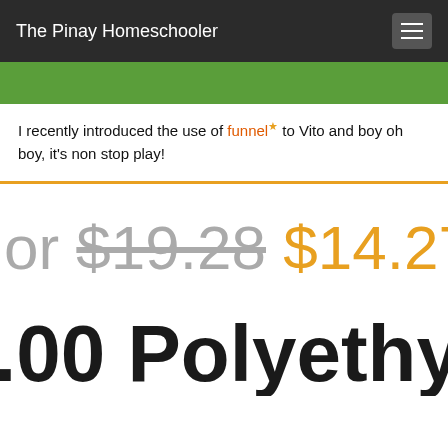The Pinay Homeschooler
I recently introduced the use of funnel* to Vito and boy oh boy, it's non stop play!
or $19.28 $14.27
.00 Polyethylene F